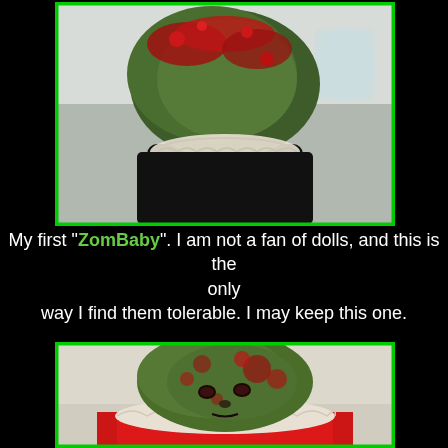[Figure (photo): Close-up photo of a zombie baby doll from above, showing a green and red bloody painted head with lace collar and dark body, on black stand, against white/grey background.]
My first "ZomBaby". I am not a fan of dolls, and this is the only way I find them tolerable. I may keep this one.
[Figure (photo): Close-up photo of a zombie baby doll head, painted green with red splotches, with dark sunken eyes, wearing a red dress with white lace collar, against light background.]